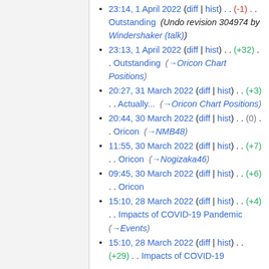23:14, 1 April 2022 (diff | hist) . . (-1) . . Outstanding (Undo revision 304974 by Windershaker (talk))
23:13, 1 April 2022 (diff | hist) . . (+32) . . Outstanding (→Oricon Chart Positions)
20:27, 31 March 2022 (diff | hist) . . (+3) . . Actually... (→Oricon Chart Positions)
20:44, 30 March 2022 (diff | hist) . . (0) . . Oricon (→NMB48)
11:55, 30 March 2022 (diff | hist) . . (+7) . . Oricon (→Nogizaka46)
09:45, 30 March 2022 (diff | hist) . . (+6) . . Oricon
15:10, 28 March 2022 (diff | hist) . . (+4) . . Impacts of COVID-19 Pandemic (→Events)
15:10, 28 March 2022 (diff | hist) . . (+29) . . Impacts of COVID-19